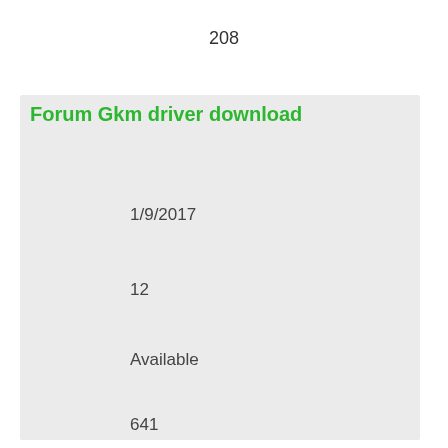208
Forum Gkm driver download
1/9/2017
12
Available
641